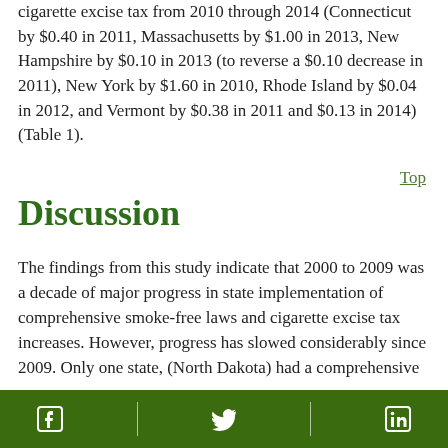cigarette excise tax from 2010 through 2014 (Connecticut by $0.40 in 2011, Massachusetts by $1.00 in 2013, New Hampshire by $0.10 in 2013 (to reverse a $0.10 decrease in 2011), New York by $1.60 in 2010, Rhode Island by $0.04 in 2012, and Vermont by $0.38 in 2011 and $0.13 in 2014) (Table 1).
Discussion
The findings from this study indicate that 2000 to 2009 was a decade of major progress in state implementation of comprehensive smoke-free laws and cigarette excise tax increases. However, progress has slowed considerably since 2009. Only one state, (North Dakota) had a comprehensive
Facebook Twitter LinkedIn